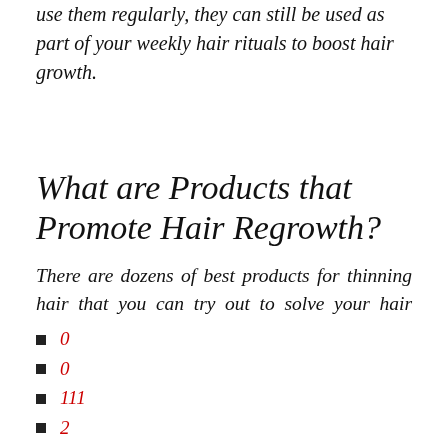use them regularly, they can still be used as part of your weekly hair rituals to boost hair growth.
What are Products that Promote Hair Regrowth?
There are dozens of best products for thinning hair that you can try out to solve your hair thinning woes. Some shampoos and conditioners are specially formulated to address this hair issue while others can take medications to improve their hair's overall health. Natural treatments can also be used
0
0
111
2